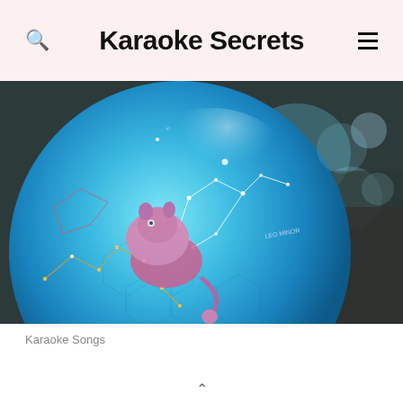Karaoke Secrets
[Figure (photo): Close-up photo of a decorative celestial globe showing constellations including Leo Minor, with illustrated figures and star line patterns on a blue surface, bokeh background]
Karaoke Songs